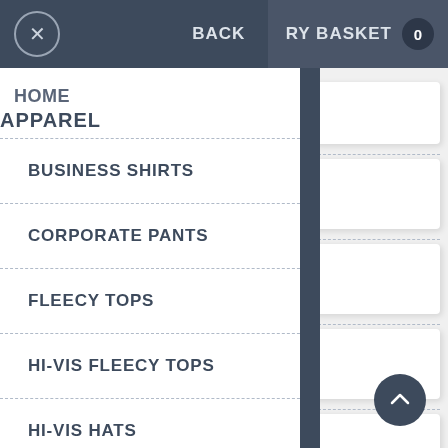× BACK | RY BASKET 0
HOME
APPAREL
BUSINESS SHIRTS
CORPORATE PANTS
FLEECY TOPS
HI-VIS FLEECY TOPS
HI-VIS HATS
HOODIES
JACKETS